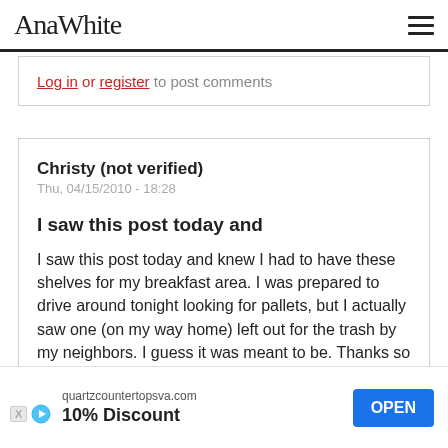AnaWhite
Log in or register to post comments
Christy (not verified)
Thu, 04/15/2010 - 18:28
I saw this post today and
I saw this post today and knew I had to have these shelves for my breakfast area. I was prepared to drive around tonight looking for pallets, but I actually saw one (on my way home) left out for the trash by my neighbors. I guess it was meant to be. Thanks so much for this idea!
Log in or register to post comments
[Figure (other): Advertisement banner: quartzcountertopsva.com - 10% Discount - OPEN button]